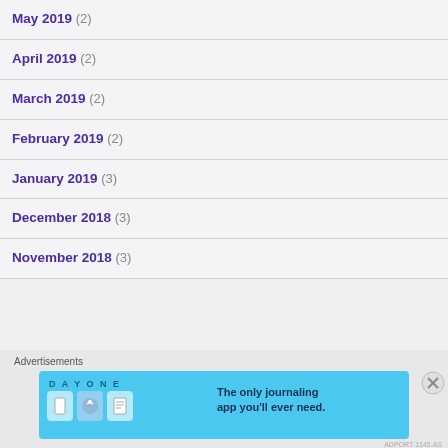May 2019 (2)
April 2019 (2)
March 2019 (2)
February 2019 (2)
January 2019 (3)
December 2018 (3)
November 2018 (3)
[Figure (infographic): DayOne app advertisement banner: 'The only journaling app you'll ever need.']
Advertisements